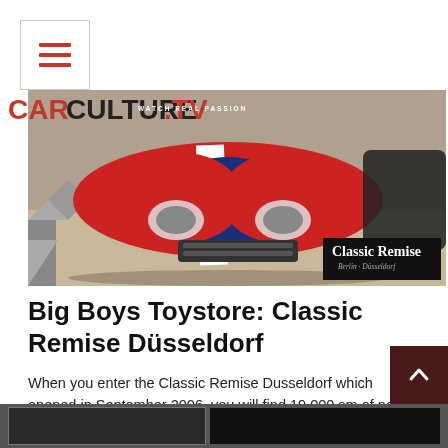[Figure (logo): Hamburger menu icon in a bordered box]
[Figure (logo): CarCulture.TV logo with tagline WATCH REAL PASSION]
[Figure (photo): Hero photo of a red and blue race car (Ford GT40 style) with white stripes at Classic Remise Dusseldorf, with a Classic Remise badge overlay in lower right]
Big Boys Toystore: Classic Remise Düsseldorf
When you enter the Classic Remise Dusseldorf which opened in September 2006, you will find 19.000 sm of not only the greatest cars of automotive history but also workshop and service companies for vintage and [...
[Figure (screenshot): Bottom partial image strip showing dark thumbnail images]